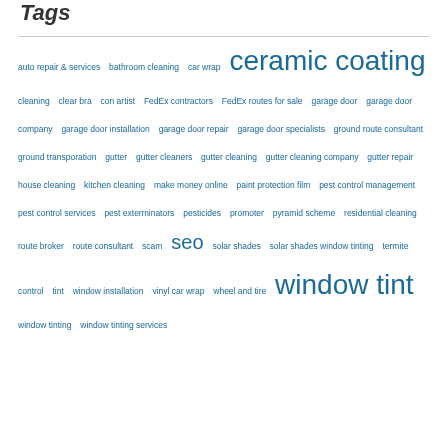Tags
auto repair & services bathroom cleaning car wrap ceramic coating cleaning clear bra con artist FedEx contractors FedEx routes for sale garage door garage door company garage door installation garage door repair garage door specialists ground route consultant ground transporation gutter gutter cleaners gutter cleaning gutter cleaning company gutter repair house cleaning kitchen cleaning make money online paint protection film pest control management pest control services pest exterminators pesticides promoter pyramid scheme residential cleaning route broker route consultant scam seo solar shades solar shades window tinting termite control tint window installation vinyl car wrap wheel and tire window tint window tinting window tinting services